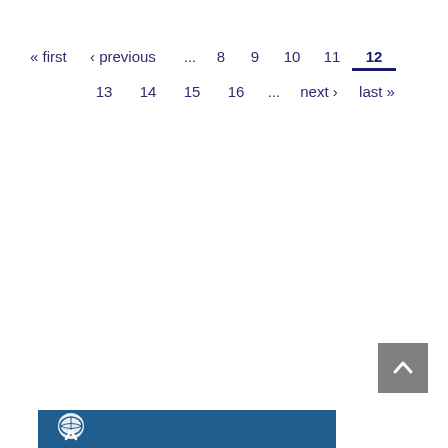« first  ‹ previous  ...  8  9  10  11  12  13  14  15  16  ...  next ›  last »
[Figure (other): Back to top button - grey square with upward chevron arrow]
[Figure (logo): Footer bar with organization logo on blue background]